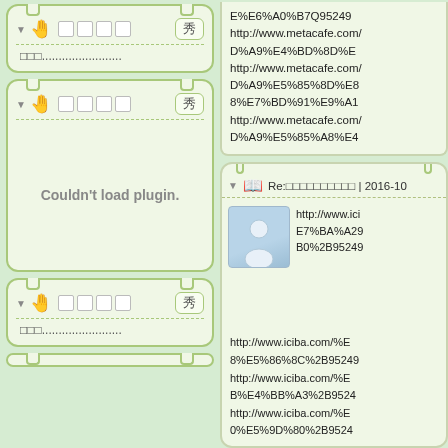[Figure (screenshot): Left column: three widget cards with green rounded borders and pin decorations. First card has header with hand icon, title boxes placeholder, and 秀 button, with dotted text content. Second (large) card has same header style and shows 'Couldn't load plugin.' error message. Third card has same header with dotted text. Right column top: URL text block with metacafe.com URLs. Right column bottom: card with Re: heading, avatar figure, and iciba.com URL text.]